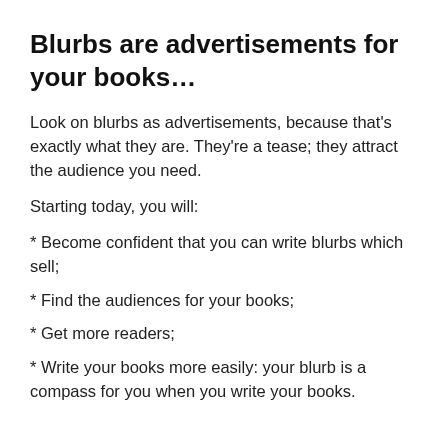Blurbs are advertisements for your books…
Look on blurbs as advertisements, because that's exactly what they are. They're a tease; they attract the audience you need.
Starting today, you will:
* Become confident that you can write blurbs which sell;
* Find the audiences for your books;
* Get more readers;
* Write your books more easily: your blurb is a compass for you when you write your books.